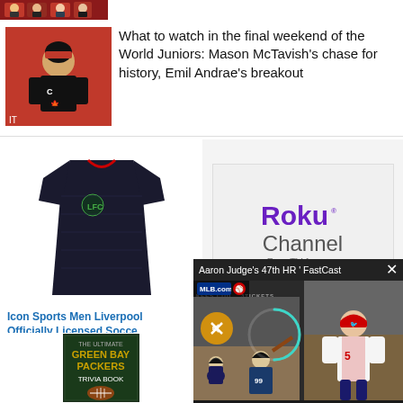[Figure (photo): Partial view of sports crowd/team photo at top]
[Figure (photo): Hockey player in Canadian team jersey (World Juniors)]
What to watch in the final weekend of the World Juniors: Mason McTavish’s chase for history, Emil Andrae’s breakout
[Figure (photo): Black Liverpool FC soccer jersey product image]
Icon Sports Men Liverpool Officially Licensed Socce...
$27.99 $32.99 ★★★★☆ (46)
[Figure (logo): Roku Channel - Free TV for you. logo]
The Roku Channel
[Figure (photo): The Ultimate Green Bay Packers Trivia Book cover]
[Figure (screenshot): Video overlay: Aaron Judge's 47th HR FastCast - MLB.com video with mute button and progress circle, baseball player batting and Cardinals player]